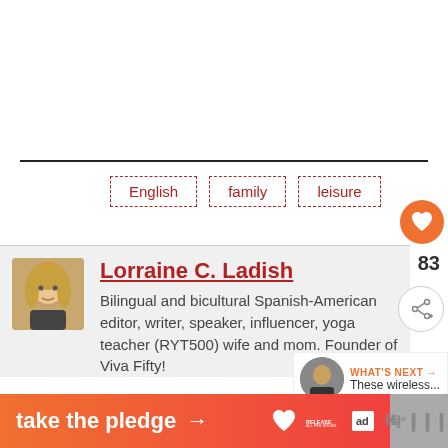[Figure (other): White space area at top of page (above the horizontal rule)]
English
family
leisure
[Figure (photo): Circular orange heart button / favorite icon]
83
[Figure (photo): Share button (circular white button with share icon)]
[Figure (photo): Avatar photo of Lorraine C. Ladish - woman with blonde/curly hair]
Lorraine C. Ladish
Bilingual and bicultural Spanish-American editor, writer, speaker, influencer, yoga teacher (RYT500) wife and mom. Founder of Viva Fifty!
[Figure (photo): WHAT'S NEXT panel with circular portrait thumbnail and text 'These wireless...']
[Figure (other): Advertisement banner: 'take the pledge' with arrow, RELEASE logo, and ad marker. Right side shows 'muse' text with superscript dot.]